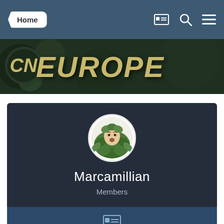Home
[Figure (screenshot): CN Europe website banner with logo text CN EUROPE on a dark green forest background]
[Figure (illustration): Circular avatar showing a cartoon face surrounded by green leaves (Green Man motif)]
Marcamillian
Members
[Figure (other): Blue ID/profile card button with an ID card icon]
CONTENT COUNT
580
JOINED
April 22, 2006